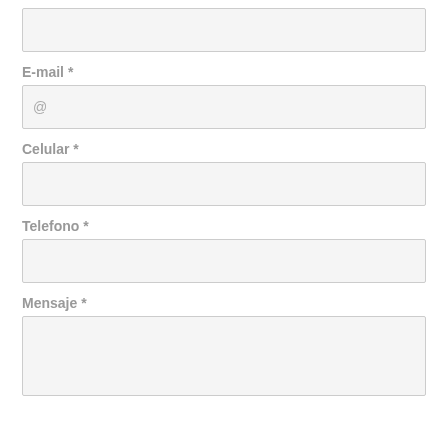[Figure (screenshot): Empty text input field at top of form]
E-mail *
[Figure (screenshot): Email input field with @ placeholder]
Celular *
[Figure (screenshot): Empty text input field for Celular]
Telefono *
[Figure (screenshot): Empty text input field for Telefono]
Mensaje *
[Figure (screenshot): Empty textarea for Mensaje]